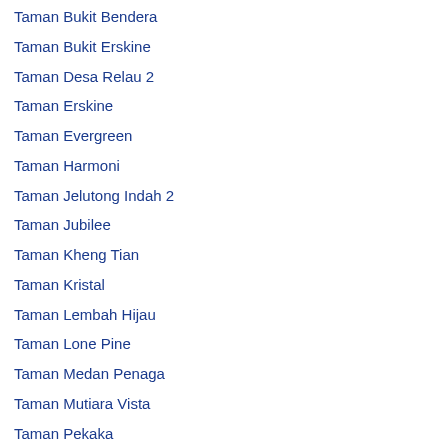Taman Bukit Bendera
Taman Bukit Erskine
Taman Desa Relau 2
Taman Erskine
Taman Evergreen
Taman Harmoni
Taman Jelutong Indah 2
Taman Jubilee
Taman Kheng Tian
Taman Kristal
Taman Lembah Hijau
Taman Lone Pine
Taman Medan Penaga
Taman Mutiara Vista
Taman Pekaka
Taman Seri Damai
Taman Seri Sari
Taman Skyridge